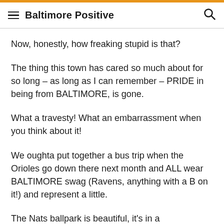Baltimore Positive
Now, honestly, how freaking stupid is that?
The thing this town has cared so much about for so long – as long as I can remember – PRIDE in being from BALTIMORE, is gone.
What a travesty! What an embarrassment when you think about it!
We oughta put together a bus trip when the Orioles go down there next month and ALL wear BALTIMORE swag (Ravens, anything with a B on it!) and represent a little.
The Nats ballpark is beautiful, it's in a weird/changing part of town and it's definitely worth seeing if you love baseball. Just